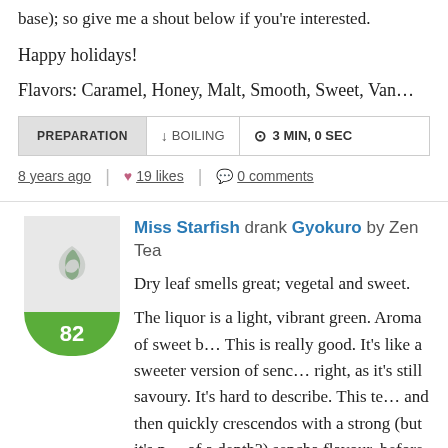base); so give me a shout below if you're interested.
Happy holidays!
Flavors: Caramel, Honey, Malt, Smooth, Sweet, Van…
PREPARATION  ↓ BOILING  ⊙ 3 MIN, 0 SEC
8 years ago | ♥ 19 likes | 💬 0 comments
Miss Starfish drank Gyokuro by Zen Tea
Dry leaf smells great; vegetal and sweet.
The liquor is a light, vibrant green. Aroma of sweet b… This is really good. It's like a sweeter version of senc… right, as it's still savoury. It's hard to describe. This te… and then quickly crescendos with a strong (but it's n… of a depth?) sencha flavour, before rounding down w… grass, baby jasmine and umami.